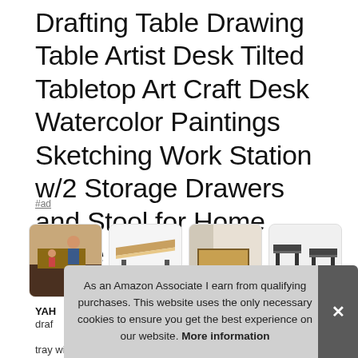Drafting Table Drawing Table Artist Desk Tilted Tabletop Art Craft Desk Watercolor Paintings Sketching Work Station w/2 Storage Drawers and Stool for Home Office
#ad
[Figure (photo): Four product images of a drafting table/drawing desk in various configurations]
YAH...
draf...
tray with separate slots for different stationary items. Durable
As an Amazon Associate I earn from qualifying purchases. This website uses the only necessary cookies to ensure you get the best experience on our website. More information